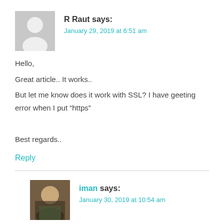R Raut says:
January 29, 2019 at 6:51 am
Hello,
Great article.. It works..
But let me know does it work with SSL? I have geeting error when I put “https”

Best regards..
Reply
iman says:
January 30, 2019 at 10:54 am